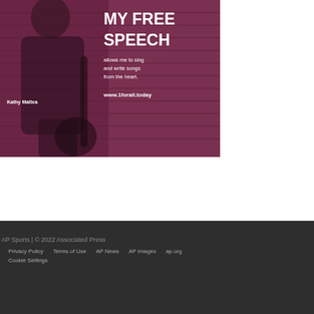[Figure (illustration): Advertisement featuring Kathy Mattea holding a guitar against a pink/mauve background with text 'MY FREE SPEECH allows me to sing and write songs from the heart. www.1forall.today']
AP Sports | © 2022 Associated Press
Privacy Policy   Terms of Use   AP News   AP Images   ap.org
Cookie Settings